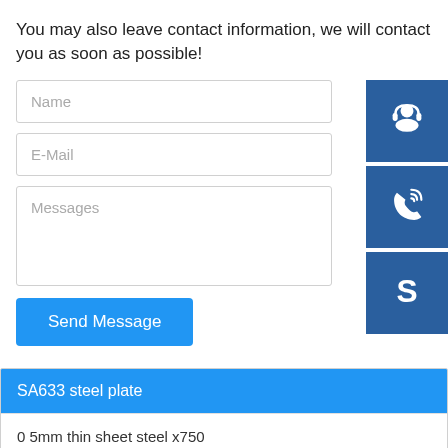You may also leave contact information, we will contact you as soon as possible!
[Figure (infographic): Contact form with Name, E-Mail, and Messages fields and Send Message button, alongside three blue icon boxes showing a headset/customer support icon, a telephone/call icon, and a Skype icon]
SA633 steel plate
0 5mm thin sheet steel x750
sa36 sheet used in bridge engineering performance